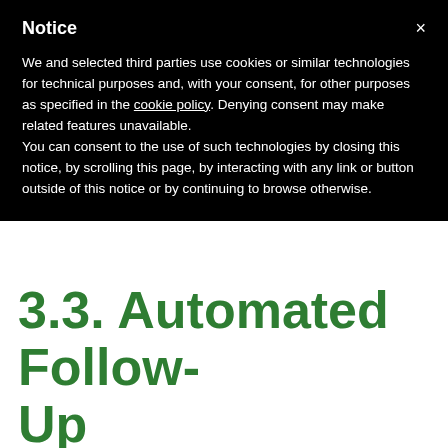Notice
We and selected third parties use cookies or similar technologies for technical purposes and, with your consent, for other purposes as specified in the cookie policy. Denying consent may make related features unavailable.
You can consent to the use of such technologies by closing this notice, by scrolling this page, by interacting with any link or button outside of this notice or by continuing to browse otherwise.
3.3. Automated Follow-Up
You can easily create individual templates for each follow-up e-mail and set the amount of time between each follow-up.